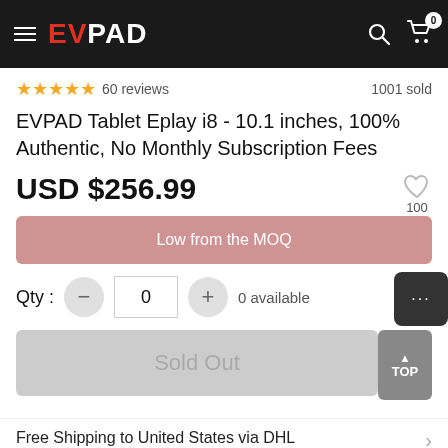EVPAD 0 (cart)
★★★★★ 60 reviews   1001 sold
EVPAD Tablet Eplay i8 - 10.1 inches, 100% Authentic, No Monthly Subscription Fees
USD $256.99
Low from the MOQ
Qty : − 0 + 0 available
Sold Out
Free Shipping to United States via DHL